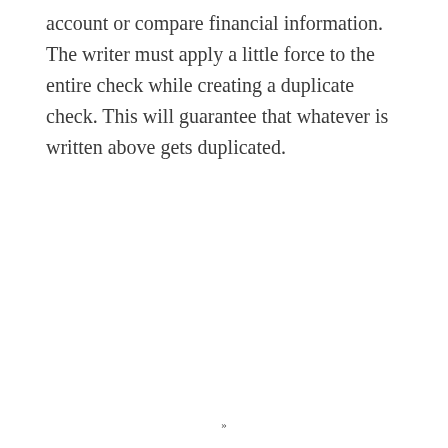account or compare financial information. The writer must apply a little force to the entire check while creating a duplicate check. This will guarantee that whatever is written above gets duplicated.
»